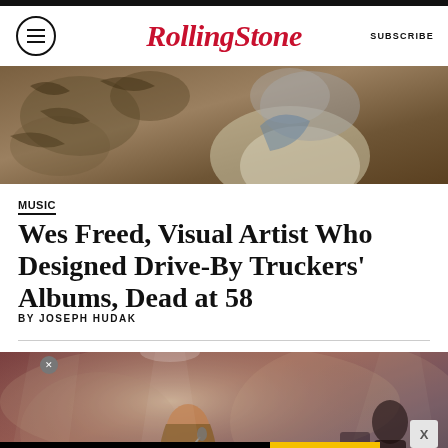Rolling Stone | SUBSCRIBE
[Figure (photo): Close-up photo of a tattooed person, partially visible, wearing a white garment. Tattoos visible on arms/chest.]
MUSIC
Wes Freed, Visual Artist Who Designed Drive-By Truckers' Albums, Dead at 58
BY JOSEPH HUDAK
[Figure (photo): Photo of a performer with long hair singing into a microphone on a stage with dramatic lighting and smoky atmosphere.]
[Figure (other): Advertisement banner: SHOULD YOU TRY NFL+? HERE'S HOW TO DECIDE | SPY logo]